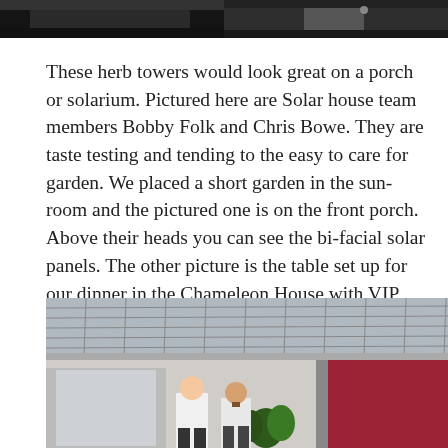[Figure (photo): Two cropped photos at the top of the page showing people outdoors, partially visible]
These herb towers would look great on a porch or solarium. Pictured here are Solar house team members Bobby Folk and Chris Bowe. They are taste testing and tending to the easy to care for garden. We placed a short garden in the sun-room and the pictured one is on the front porch. Above their heads you can see the bi-facial solar panels. The other picture is the table set up for our dinner in the Chameleon House with VIP Chancellor Schrader.
[Figure (photo): Photo showing two people standing under a large bi-facial solar panel installation on a porch, with plants visible and a red wall in the background]